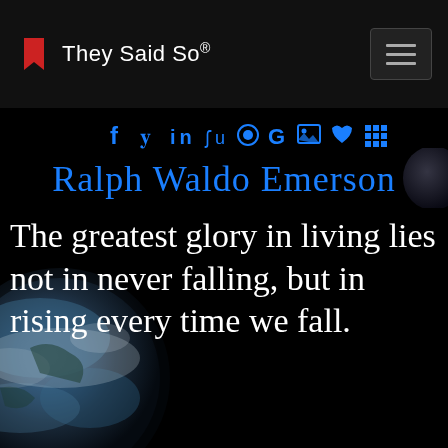They Said So®
[Figure (logo): They Said So logo with red bookmark/flag icon and text 'They Said So®' on dark header bar, with hamburger menu button on right]
[Figure (infographic): Row of blue social media icons: Facebook, Twitter, LinkedIn, StumbleUpon, others, Google, image icon, heart, grid]
Ralph Waldo Emerson
The greatest glory in living lies not in never falling, but in rising every time we fall.
[Figure (photo): Earth globe photo visible in bottom-left corner against black space background, with partial moon visible at top-right]